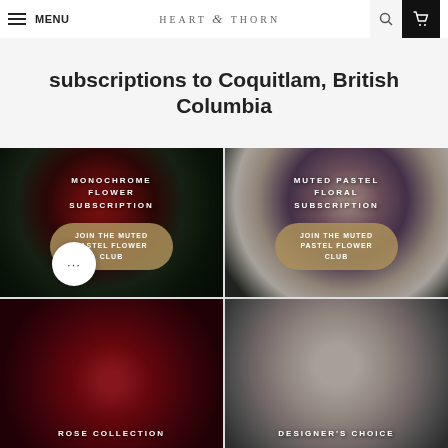MENU | HEART & THORN
subscriptions to Coquitlam, British Columbia
[Figure (photo): Monochrome red roses bouquet with dark green foliage on dark background. Text overlay: MONOCHROME FLOWER SUBSCRIPTION. Button: JOIN THE MUTED PASTEL FLOWER CLUB]
[Figure (photo): Muted pastel floral arrangement with pink roses, lavender, and cream flowers on dark background. Text overlay: MUTED PASTEL FLORAL SUBSCRIPTION. Button: JOIN THE MUTED PASTEL FLOWER CLUB]
[Figure (photo): Rose collection product photo with red roses on dark red background. Text overlay: ROSE COLLECTION]
[Figure (photo): Designer's choice floral arrangement with soft cream and pale pink flowers. Text overlay: DESIGNER'S CHOICE]